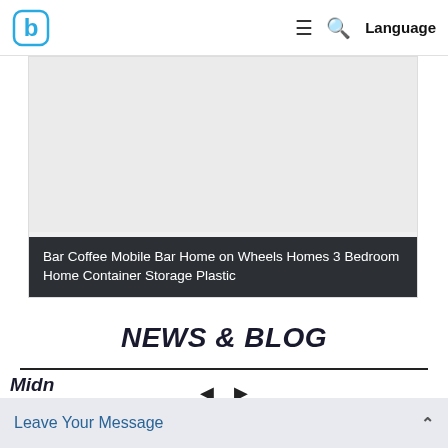b | ≡ 🔍 Language
[Figure (photo): Gray image placeholder card with dark caption bar showing product category text]
Bar Coffee Mobile Bar Home on Wheels Homes 3 Bedroom Home Container Storage Plastic
NEWS & BLOG
[Figure (other): Navigation arrows (left and right triangles) for carousel]
[Figure (other): Partially visible dark circular button in bottom-right area]
Midn
Leave Your Message